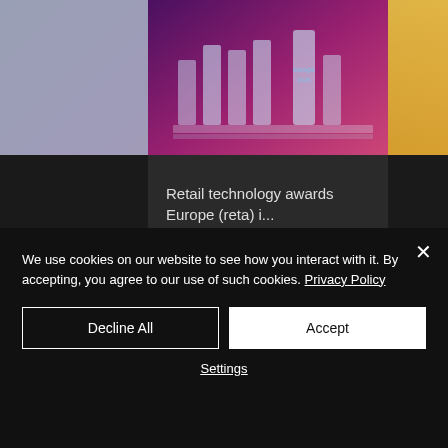[Figure (screenshot): Retail technology awards Europe display with glass trophies on illuminated stands against a purple/pink background]
Retail technology awards Europe (reta) i...
👁 10  💬 0  ♥
We use cookies on our website to see how you interact with it. By accepting, you agree to our use of such cookies. Privacy Policy
Decline All
Accept
Settings